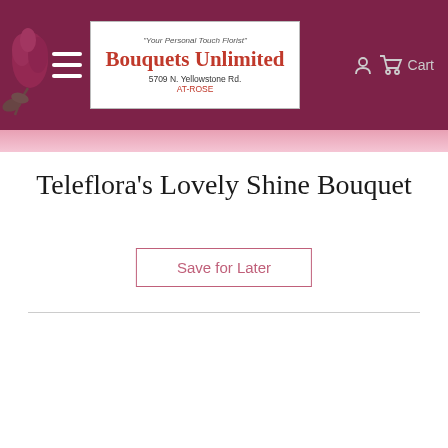Bouquets Unlimited — Your Personal Touch Florist — 5709 N. Yellowstone Rd. — AT-ROSE — Cart
Teleflora's Lovely Shine Bouquet
Save for Later